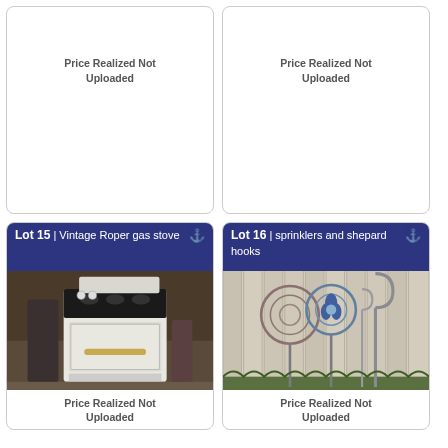Price Realized Not Uploaded
Price Realized Not Uploaded
Lot 15 | Vintage Roper gas stove
[Figure (photo): Vintage Roper gas stove, white enamel, standing in a cluttered garage area]
Price Realized Not Uploaded
Lot 16 | sprinklers and shepard hooks
[Figure (photo): Garden sprinklers and shepard hooks leaning against a white fence]
Price Realized Not Uploaded